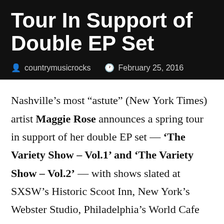Tour In Support of Double EP Set
countrymusicrocks  February 25, 2016
Nashville’s most “astute” (New York Times) artist Maggie Rose announces a spring tour in support of her double EP set — ‘The Variety Show – Vol.1’ and ‘The Variety Show – Vol.2’ — with shows slated at SXSW’s Historic Scoot Inn, New York’s Webster Studio, Philadelphia’s World Cafe